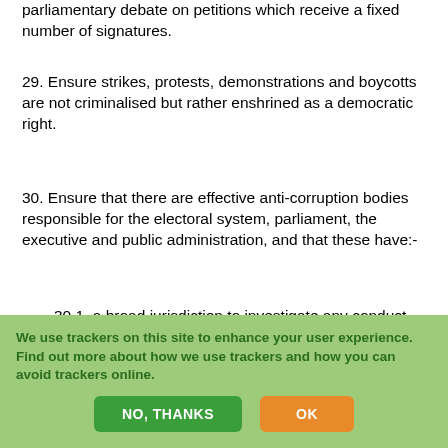parliamentary debate on petitions which receive a fixed number of signatures.
29. Ensure strikes, protests, demonstrations and boycotts are not criminalised but rather enshrined as a democratic right.
30. Ensure that there are effective anti-corruption bodies responsible for the electoral system, parliament, the executive and public administration, and that these have:-
30.1. a broad jurisdiction to investigate any conduct that could directly or indirectly seriously or systemically adversely affect the honest or impartial exercise of public administration;
30.2. the ability to take submissions and initiate investigations
We use trackers on this site to enhance your user experience. Find out more about how we use trackers and how you can avoid trackers online.